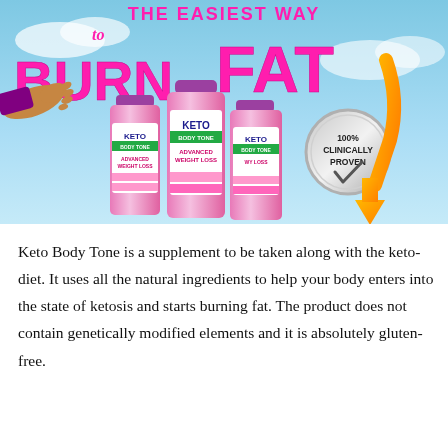[Figure (illustration): Advertisement image for Keto Body Tone supplement. Sky blue background with large bold pink text reading 'THE EASIEST WAY to BURN FAT'. Three pink/white supplement bottles labeled 'KETO BODY TONE ADVANCED WEIGHT LOSS' arranged in center. A silver circular badge reads '100% CLINICALLY PROVEN' with a checkmark. An orange arrow points downward toward the bottles. A hand reaching from left side.]
Keto Body Tone is a supplement to be taken along with the keto-diet. It uses all the natural ingredients to help your body enters into the state of ketosis and starts burning fat. The product does not contain genetically modified elements and it is absolutely gluten-free.